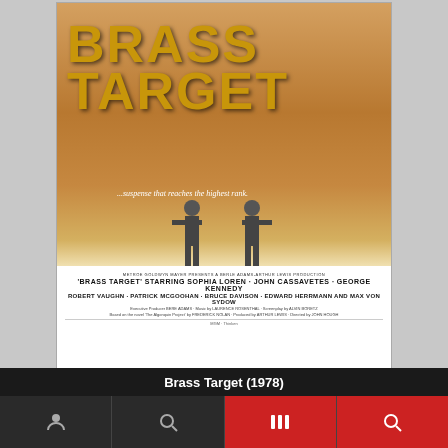[Figure (photo): Movie poster for 'Brass Target' (1978). Top portion shows dramatic brown/gold background with large stylized text 'BRASS TARGET' in gold letters. Above the title are figures of people. Below the title is the tagline '...suspense that reaches the highest rank.' with two figures holding guns. Bottom white section contains film credits: 'BRASS TARGET' starring SOPHIA LOREN, JOHN CASSAVETES, GEORGE KENNEDY, ROBERT VAUGHN, PATRICK McGOOHAN, BRUCE DAVISON, EDWARD HERRMANN and MAX VON SYDOW. Executive Producer BERE ADAMS, Music by LAURENCE ROSENTHAL, Screenplay by ALVIN BORETZ, Based on the novel 'The Algonquin Project' by FREDERICK NOLAN, Produced by ARTHUR LEWIS, Directed by JOHN HOUGH.]
Brass Target (1978)